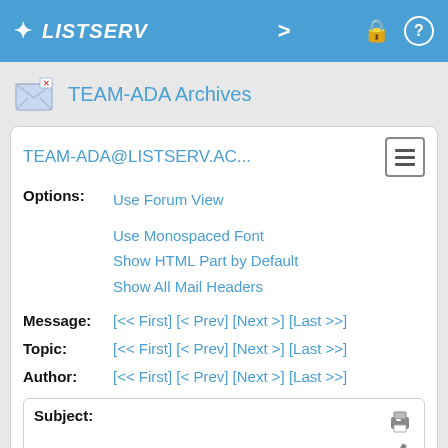LISTSERV
TEAM-ADA Archives
TEAM-ADA@LISTSERV.AC...
Options: Use Forum View
Use Monospaced Font
Show HTML Part by Default
Show All Mail Headers
Message: [<< First] [< Prev] [Next >] [Last >>]
Topic: [<< First] [< Prev] [Next >] [Last >>]
Author: [<< First] [< Prev] [Next >] [Last >>]
Subject: Re: Creation of binary operators
From: Matthew Heaney <[log in to unmask]>